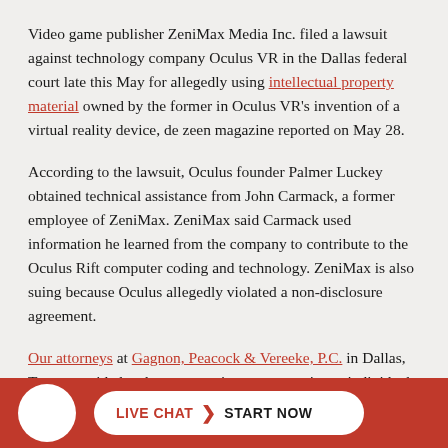Video game publisher ZeniMax Media Inc. filed a lawsuit against technology company Oculus VR in the Dallas federal court late this May for allegedly using intellectual property material owned by the former in Oculus VR's invention of a virtual reality device, de zeen magazine reported on May 28.
According to the lawsuit, Oculus founder Palmer Luckey obtained technical assistance from John Carmack, a former employee of ZeniMax. ZeniMax said Carmack used information he learned from the company to contribute to the Oculus Rift computer coding and technology. ZeniMax is also suing because Oculus allegedly violated a non-disclosure agreement.
Our attorneys at Gagnon, Peacock & Vereeke, P.C. in Dallas, Texas provide legal representation to companies or individuals who have suffered violations of intellectual prop...
[Figure (infographic): Red footer bar with white circular logo on the left and a white pill-shaped button reading 'LIVE CHAT > START NOW']